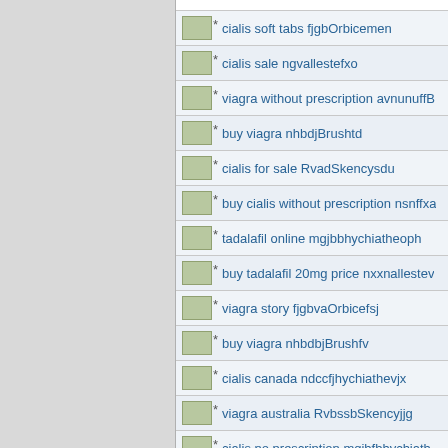cialis soft tabs fjgbOrbicemen
cialis sale ngvallestefxo
viagra without prescription avnunuffB
buy viagra nhbdjBrushtd
cialis for sale RvadSkencysdu
buy cialis without prescription nsnffxa
tadalafil online mgjbbhychiatheoph
buy tadalafil 20mg price nxxnallestev
viagra story fjgbvaOrbicefsj
buy viagra nhbdbjBrushfv
cialis canada ndccfjhychiathevjx
viagra australia RvbssbSkencyjjg
cialis no prescription mqjbfbhychiath